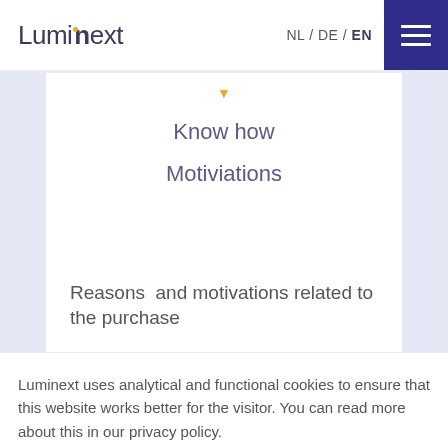Luminext — NL / DE / EN
Know how
Motiviations
Reasons  and motivations related to the purchase
Luminext uses analytical and functional cookies to ensure that this website works better for the visitor. You can read more about this in our privacy policy.
IK BEGRIJP HET
Cookie settings